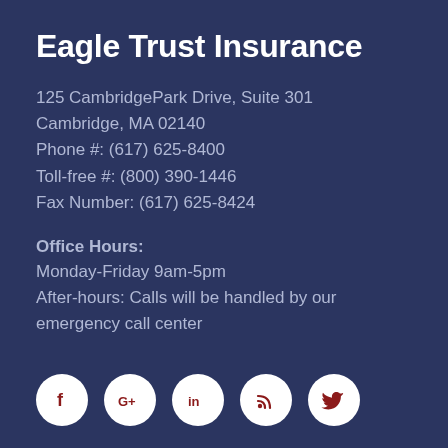Eagle Trust Insurance
125 CambridgePark Drive, Suite 301
Cambridge, MA 02140
Phone #: (617) 625-8400
Toll-free #: (800) 390-1446
Fax Number: (617) 625-8424
Office Hours:
Monday-Friday 9am-5pm
After-hours: Calls will be handled by our emergency call center
[Figure (infographic): Five social media icon circles: Facebook (f), Google+ (G+), LinkedIn (in), RSS feed, Twitter (bird icon), all white circles with dark red icons]